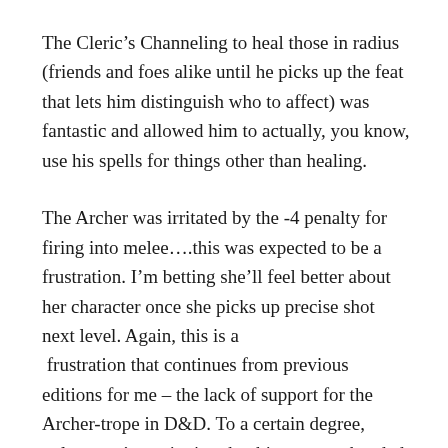The Cleric's Channeling to heal those in radius (friends and foes alike until he picks up the feat that lets him distinguish who to affect) was fantastic and allowed him to actually, you know, use his spells for things other than healing.
The Archer was irritated by the -4 penalty for firing into melee….this was expected to be a frustration. I'm betting she'll feel better about her character once she picks up precise shot next level. Again, this is a frustration that continues from previous editions for me – the lack of support for the Archer-trope in D&D. To a certain degree, unless you're swinging that big-ass two-handed weapon, as a primary fighter, you're just kidding around.